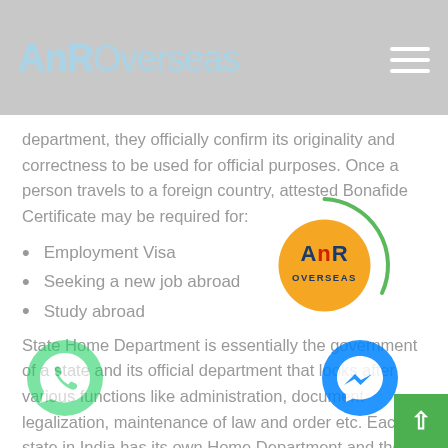AnROverseas
department, they officially confirm its originality and correctness to be used for official purposes. Once a person travels to a foreign country, attested Bonafide Certificate may be required for:
Employment Visa
Seeking a new job abroad
Study abroad
State Home Department is essentially the government of a state and its official department that looks after various functions like administration, document legalization, maintenance of law and order etc. Each state in India has its own Home Department and they have their own pro /protocol that they follow for attesting documents issu
[Figure (logo): AnR Overseas circular logo watermark, orange circle with AnR OVERSEAS text]
[Figure (logo): WhatsApp icon, green circle with phone handset]
[Figure (logo): Facebook Messenger icon, blue circle with lightning bolt/messenger symbol]